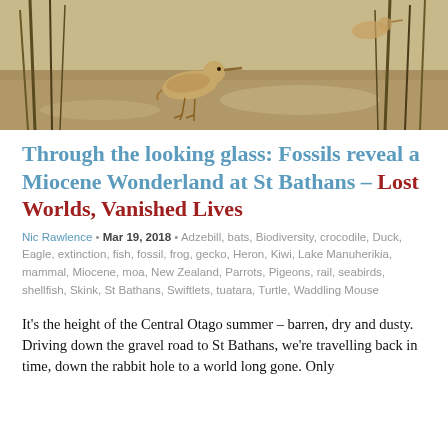[Figure (illustration): Painting of a small bird (rail or wren-like species) standing in a shallow wetland or marsh, with reeds and water in the background. Warm earthy tones.]
Through the looking glass: Fossils reveal a Miocene Wonderland at St Bathans – Lost Worlds, Vanished Lives
Nic Rawlence • Mar 19, 2018 • Adzebill, bats, Biodiversity, crocodile, Duck, Eagle, extinction, fish, fossil, frog, gecko, Heron, Kiwi, Lake Manuherikia, mammal, Miocene, moa, New Zealand, Parrots, Pigeons, rail, seabirds, shellfish, Skink, St Bathans, Swiftlets, tuatara, Turtle, Waddling Mouse
It's the height of the Central Otago summer – barren, dry and dusty. Driving down the gravel road to St Bathans, we're travelling back in time, down the rabbit hole to a world long gone. Only